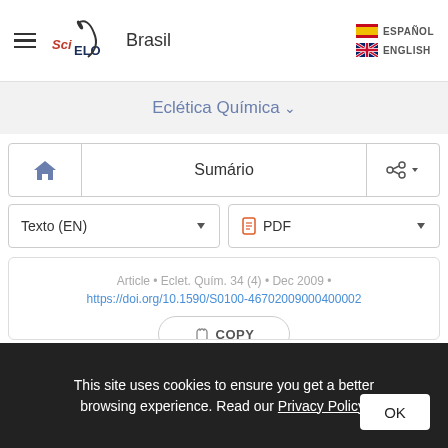SciELO Brasil — ESPAÑOL / ENGLISH
Eclética Química
Sumário
Texto (EN) | PDF
Article • Eclet. Quím. 34 (4) • Dec 2009 • https://doi.org/10.1590/S0100-46702009000400002
COPY
Thermal stability and
This site uses cookies to ensure you get a better browsing experience. Read our Privacy Policy.